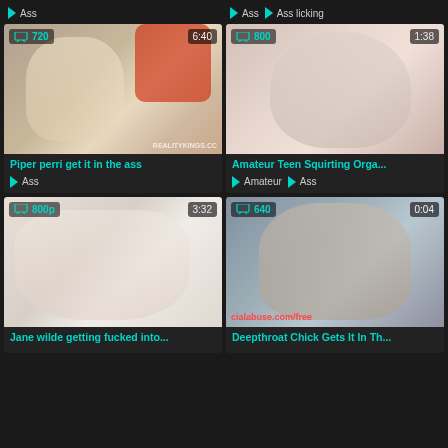[Figure (screenshot): Video thumbnail grid showing 4 adult video thumbnails with titles, tags, resolution and duration overlays]
Ass
Ass | Ass licking
Piper perri get it in the ass
Ass
Amateur Teen Squirting Orga...
Amateur | Ass
Jane wilde getting fucked into...
Deepthroat Chick Gets It In Th...